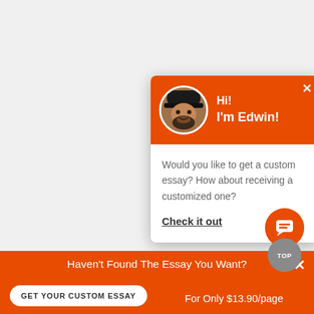[Figure (screenshot): Chat popup widget with orange header showing avatar photo of bearded man named Edwin, greeting text 'Hi! I'm Edwin!', close X button, white body with message and Check it out link]
Hi!
I'm Edwin!
Would you like to get a custom essay? How about receiving a customized one?
Check it out
[Figure (infographic): Orange circular chat icon button with message bubble icon]
[Figure (infographic): Gray circular TOP button]
Haven't Found The Essay You Want?
GET YOUR CUSTOM ESSAY
For Only $13.90/page